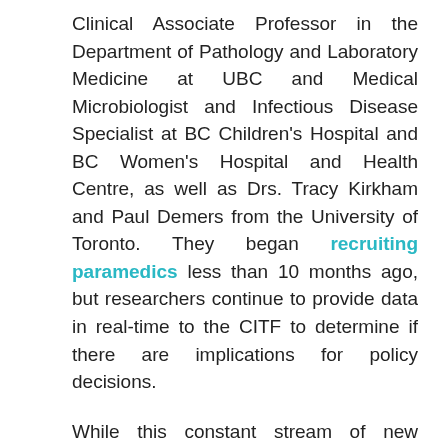Clinical Associate Professor in the Department of Pathology and Laboratory Medicine at UBC and Medical Microbiologist and Infectious Disease Specialist at BC Children's Hospital and BC Women's Hospital and Health Centre, as well as Drs. Tracy Kirkham and Paul Demers from the University of Toronto. They began recruiting paramedics less than 10 months ago, but researchers continue to provide data in real-time to the CITF to determine if there are implications for policy decisions.
While this constant stream of new information can make things difficult when making public health decisions, it has been rewarding for researchers to see their efforts translate into clinically relevant findings.
“That is the real goal of any researcher,” said Dr.